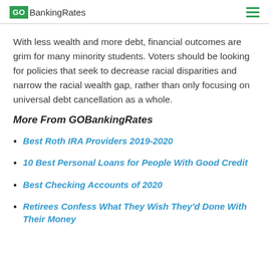GOBankingRates
With less wealth and more debt, financial outcomes are grim for many minority students. Voters should be looking for policies that seek to decrease racial disparities and narrow the racial wealth gap, rather than only focusing on universal debt cancellation as a whole.
More From GOBankingRates
Best Roth IRA Providers 2019-2020
10 Best Personal Loans for People With Good Credit
Best Checking Accounts of 2020
Retirees Confess What They Wish They'd Done With Their Money